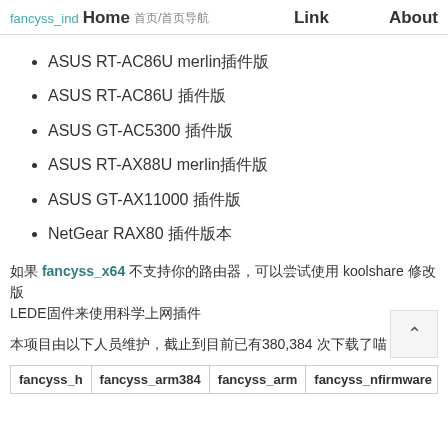fancyss_ind 首页/首页导航 Home Link About
ASUS RT-AC86U merlin插件版
ASUS RT-AC86U 插件版
ASUS GT-AC5300 插件版
ASUS RT-AX88U merlin插件版
ASUS GT-AX11000 插件版
NetGear RAX80 插件版本
如果 fancyss_x64 不支持你的路由器，可以尝试使用koolshare 修改版 LEDE固件来使用科学上网插件
本项目由以下人员维护，截止到目前已有380,384 次下载了喵～
| fancyss_h | fancyss_arm384 | fancyss_arm | fancyss_nfirmware | ss_ |
| --- | --- | --- | --- | --- |